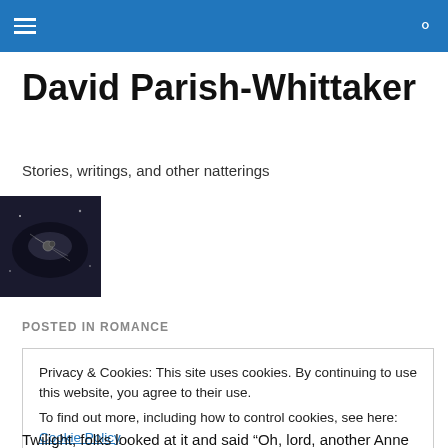David Parish-Whittaker
David Parish-Whittaker
Stories, writings, and other natterings
[Figure (photo): Dark thumbnail image showing a space or sci-fi scene]
POSTED IN ROMANCE
Privacy & Cookies: This site uses cookies. By continuing to use this website, you agree to their use.
To find out more, including how to control cookies, see here: Cookie Policy
Close and accept
Twilight, folks looked at it and said “Oh, lord, another Anne